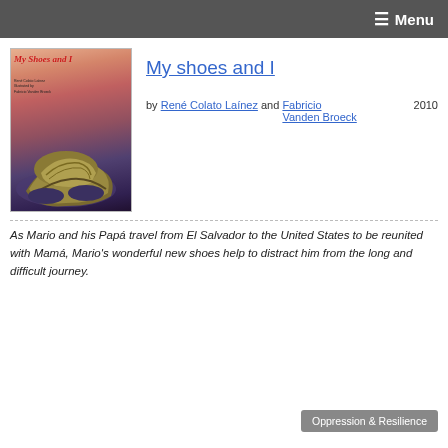≡ Menu
[Figure (illustration): Book cover of 'My Shoes and I' showing illustrated shoes on a colorful background with red stylized title text]
My shoes and I
by René Colato Laínez and Fabricio Vanden Broeck   2010
As Mario and his Papá travel from El Salvador to the United States to be reunited with Mamá, Mario's wonderful new shoes help to distract him from the long and difficult journey.
Oppression & Resilience